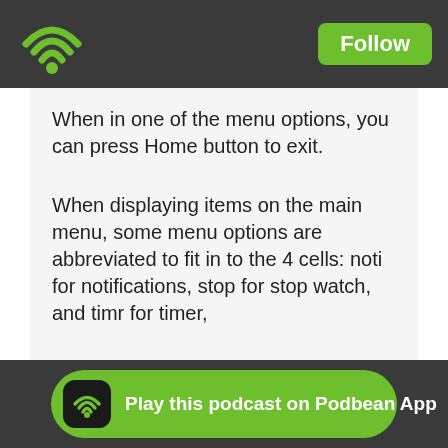Follow
When in one of the menu options, you can press Home button to exit.
When displaying items on the main menu, some menu options are abbreviated to fit in to the 4 cells: noti for notifications, stop for stop watch, and timr for timer,
When time displayed, pressing Select button will show seconds, pressing Select button again will display date, and pressing Select button will show the time again.
Play this podcast on Podbean App